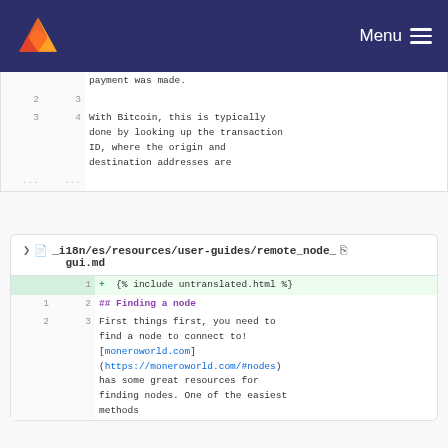Menu
| old | new | content |
| --- | --- | --- |
|  |  | payment was made. |
| 2 | 3 |  |
| 3 | 4 | With Bitcoin, this is typically done by looking up the transaction ID, where the origin and destination addresses are |
| ... | ... |  |
_i18n/es/resources/user-guides/remote_node_gui.md
| old | new | content |
| --- | --- | --- |
|  | 1 | + {% include untranslated.html %} |
| 1 | 2 | ## Finding a node |
| 2 | 3 | First things first, you need to find a node to connect to! [moneroworld.com](https://moneroworld.com/#nodes) has some great resources for finding nodes. One of the easiest methods |